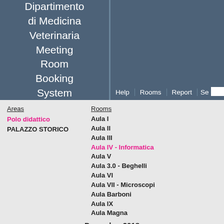Dipartimento di Medicina Veterinaria Meeting Room Booking System
Areas
Polo didattico
PALAZZO STORICO
Rooms
Aula I
Aula II
Aula III
Aula IV - Informatica
Aula V
Aula 3.0 - Beghelli
Aula VI
Aula VII - Microscopi
Aula Barboni
Aula IX
Aula Magna
| Sun | Mon | Tue | Wed | Thu | Fri | Sat |
| --- | --- | --- | --- | --- | --- | --- |
|  |  |  |  |  |  | 1 |
| 2 | 3 | 4 | 5 | 6 | 7 | 8 |
| 9 | 10 | 11 | 12 | 13 | 14 | 15 |